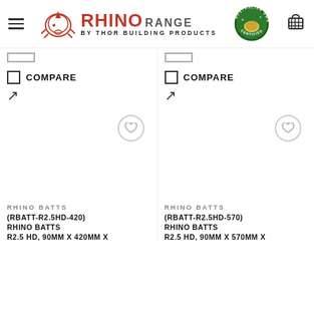RHINO RANGE by Thor Building Products — navigation header
[Figure (screenshot): Two product listing columns with compare checkboxes, external link icons, wishlist heart buttons, and product details for Rhino Batts items]
RHINO BATTS
(RBATT-R2.5HD-420) RHINO BATTS R2.5 HD, 90MM X 420MM X
RHINO BATTS
(RBATT-R2.5HD-570) RHINO BATTS R2.5 HD, 90MM X 570MM X